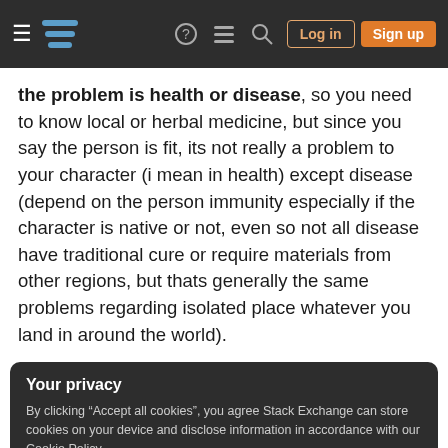Stack Exchange navigation header with hamburger menu, logo, help, chat, search icons, Log in and Sign up buttons
the problem is health or disease, so you need to know local or herbal medicine, but since you say the person is fit, its not really a problem to your character (i mean in health) except disease (depend on the person immunity especially if the character is native or not, even so not all disease have traditional cure or require materials from other regions, but thats generally the same problems regarding isolated place whatever you land in around the world).
Your privacy
By clicking “Accept all cookies”, you agree Stack Exchange can store cookies on your device and disclose information in accordance with our Cookie Policy.
Accept all cookies   Customize settings
even today and most of them is decent size or quite